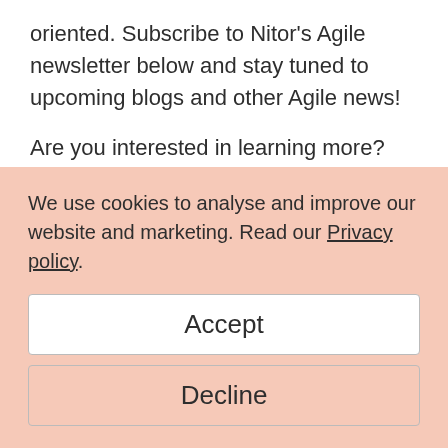oriented. Subscribe to Nitor's Agile newsletter below and stay tuned to upcoming blogs and other Agile news!
Are you interested in learning more? See our upcoming Agile Product Owner -course, or
We use cookies to analyse and improve our website and marketing. Read our Privacy policy.
Accept
Decline